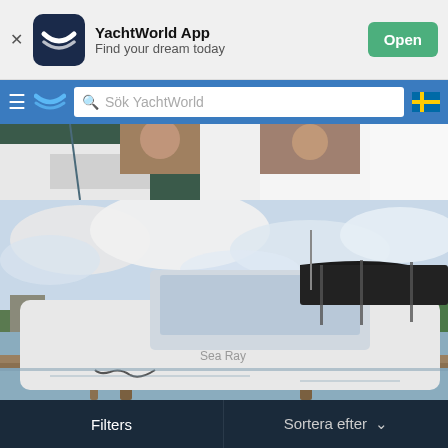YachtWorld App – Find your dream today – Open
≡ YachtWorld logo | Sök YachtWorld | 🇸🇪
[Figure (photo): Partial view of a boat hull at a dock, cropped at top]
[Figure (photo): White motorboat with black bimini top moored at a wooden dock with water and trees in background]
Filters | Sortera efter ∨